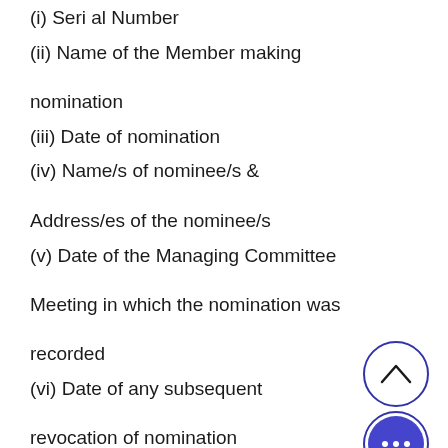(i) Serial Number
(ii) Name of the Member making nomination
(iii) Date of nomination
(iv) Name/s of nominee/s & Address/es of the nominee/s
(v) Date of the Managing Committee Meeting in which the nomination was recorded
(vi) Date of any subsequent revocation of nomination
(vii) Remarks Note: – On revocati